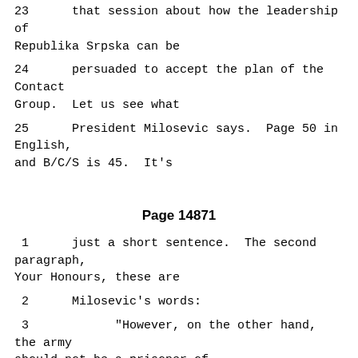23      that session about how the leadership of Republika Srpska can be
24      persuaded to accept the plan of the Contact Group.  Let us see what
25      President Milosevic says.  Page 50 in English, and B/C/S is 45.  It's
Page 14871
1      just a short sentence.  The second paragraph, Your Honours, these are
2      Milosevic's words:
3            "However, on the other hand, the army should not be a prisoner of